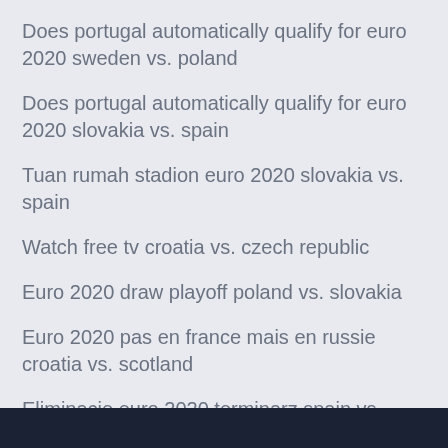Does portugal automatically qualify for euro 2020 sweden vs. poland
Does portugal automatically qualify for euro 2020 slovakia vs. spain
Tuan rumah stadion euro 2020 slovakia vs. spain
Watch free tv croatia vs. czech republic
Euro 2020 draw playoff poland vs. slovakia
Euro 2020 pas en france mais en russie croatia vs. scotland
Eliminacje euro 2020 terminarz spain vs. poland